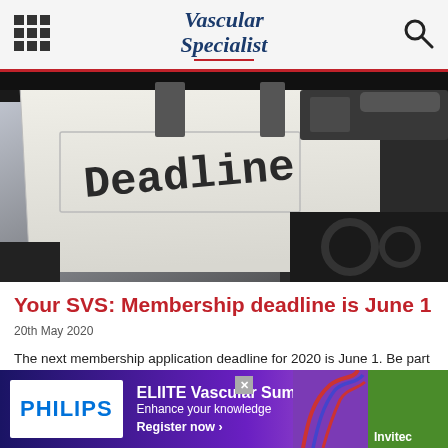Vascular Specialist
[Figure (photo): Close-up photograph of a typewriter with a piece of paper inserted reading 'Deadline' in typewriter font]
Your SVS: Membership deadline is June 1
20th May 2020
The next membership application deadline for 2020 is June 1. Be part of all SVS has to offer its members, including the online community...
[Figure (other): Advertisement banner: PHILIPS ELIITE Vascular Summit - Enhance your knowledge - Register now]